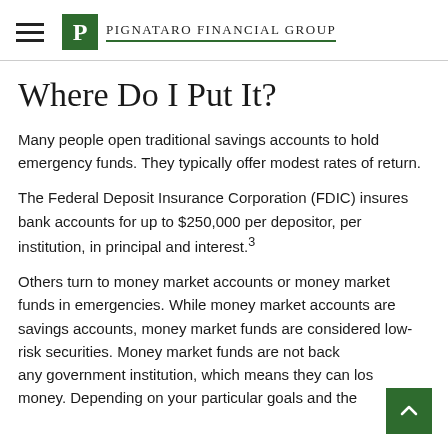Pignataro Financial Group
Where Do I Put It?
Many people open traditional savings accounts to hold emergency funds. They typically offer modest rates of return.
The Federal Deposit Insurance Corporation (FDIC) insures bank accounts for up to $250,000 per depositor, per institution, in principal and interest.³
Others turn to money market accounts or money market funds in emergencies. While money market accounts are savings accounts, money market funds are considered low-risk securities. Money market funds are not backed by any government institution, which means they can lose money. Depending on your particular goals and the